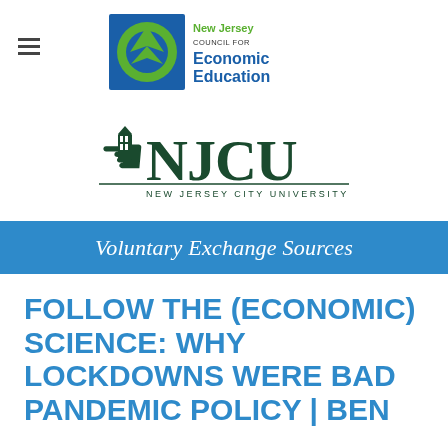[Figure (logo): New Jersey Council for Economic Education logo with blue square, green arrow, and text 'New Jersey COUNCIL FOR Economic Education']
[Figure (logo): NJCU New Jersey City University logo with wreath, gothic building icon, and large NJCU text]
Voluntary Exchange Sources
FOLLOW THE (ECONOMIC) SCIENCE: WHY LOCKDOWNS WERE BAD PANDEMIC POLICY | BEN